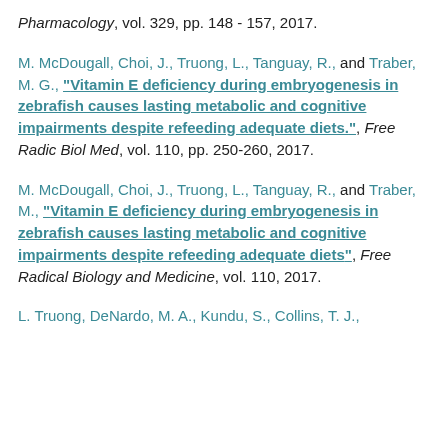Pharmacology, vol. 329, pp. 148 - 157, 2017.
M. McDougall, Choi, J., Truong, L., Tanguay, R., and Traber, M. G., "Vitamin E deficiency during embryogenesis in zebrafish causes lasting metabolic and cognitive impairments despite refeeding adequate diets.", Free Radic Biol Med, vol. 110, pp. 250-260, 2017.
M. McDougall, Choi, J., Truong, L., Tanguay, R., and Traber, M., "Vitamin E deficiency during embryogenesis in zebrafish causes lasting metabolic and cognitive impairments despite refeeding adequate diets", Free Radical Biology and Medicine, vol. 110, 2017.
L. Truong, DeNardo, M. A., Kundu, S., Collins, T. J.,...